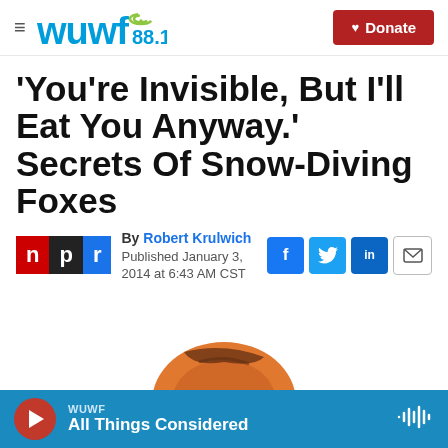WUWF 88.1 — Donate
'You're Invisible, But I'll Eat You Anyway.' Secrets Of Snow-Diving Foxes
By Robert Krulwich
Published January 3, 2014 at 6:43 AM CST
[Figure (logo): NPR logo with n p r letters in red, black, and blue blocks]
[Figure (illustration): Partial illustration of a fox's head/back, orange and black, partially cropped at bottom of page]
WUWF — All Things Considered